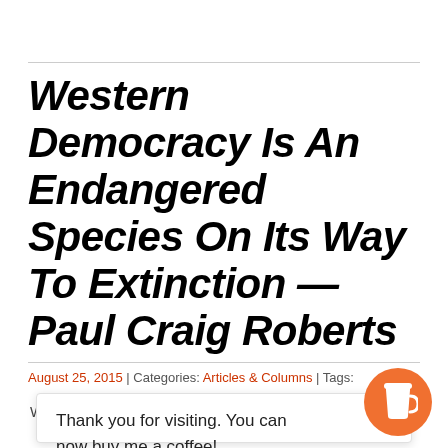Western Democracy Is An Endangered Species On Its Way To Extinction — Paul Craig Roberts
August 25, 2015 | Categories: Articles & Columns | Tags:
Thank you for visiting. You can now buy me a coffee!